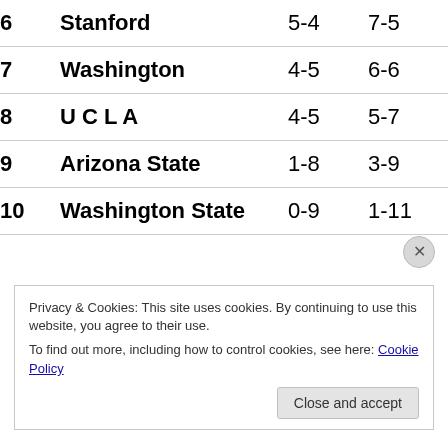| Rank | Team | Conf | Overall |
| --- | --- | --- | --- |
| 6 | Stanford | 5-4 | 7-5 |
| 7 | Washington | 4-5 | 6-6 |
| 8 | UCLA | 4-5 | 5-7 |
| 9 | Arizona State | 1-8 | 3-9 |
| 10 | Washington State | 0-9 | 1-11 |
Privacy & Cookies: This site uses cookies. By continuing to use this website, you agree to their use. To find out more, including how to control cookies, see here: Cookie Policy